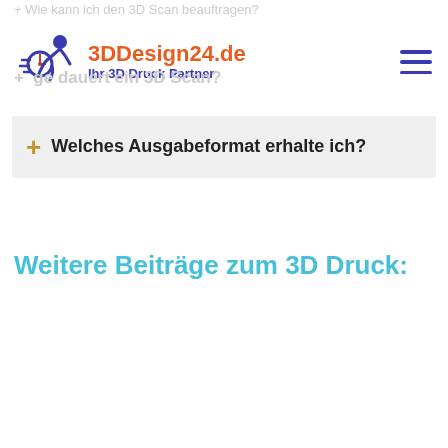3DDesign24.de — Ihr 3D Druck Partner
Wie kann ich den 3D Scan beauftragen?
Wie lange dauert ein 3D Scan?
Welches Ausgabeformat erhalte ich?
Weitere Beiträge zum 3D Druck: